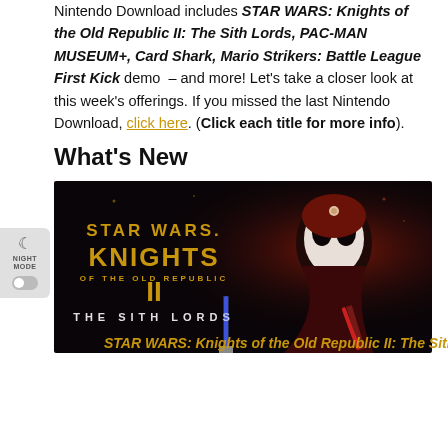Nintendo Download includes STAR WARS: Knights of the Old Republic II: The Sith Lords, PAC-MAN MUSEUM+, Card Shark, Mario Strikers: Battle League First Kick demo – and more! Let's take a closer look at this week's offerings. If you missed the last Nintendo Download, click here. (Click each title for more info).
What's New
[Figure (photo): Star Wars: Knights of the Old Republic II – The Sith Lords game cover art showing the golden STAR WARS KNIGHTS OF THE OLD REPUBLIC II THE SITH LORDS logo on the left and a dark-masked villain figure on the right with lightsaber-wielding characters below, on a black background.]
STAR WARS: Knights of the Old Republic II: The Sith Lords